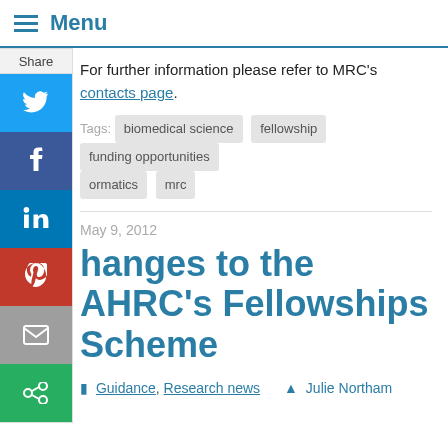Menu
For further information please refer to MRC's contacts page.
Tags: biomedical science  fellowship  funding opportunities  ormatics  mrc
May 9, 2012
Changes to the AHRC's Fellowships Scheme
Guidance, Research news   Julie Northam